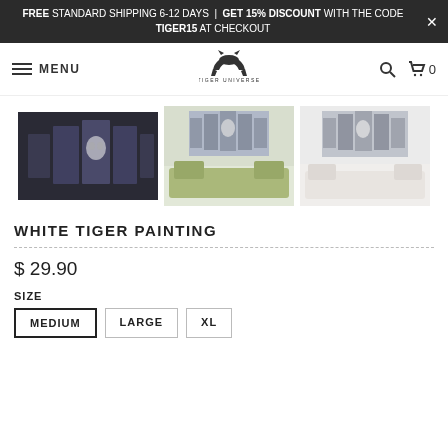FREE STANDARD SHIPPING 6-12 DAYS | GET 15% DISCOUNT WITH THE CODE TIGER15 AT CHECKOUT
MENU | TIGER UNIVERSE | 0
[Figure (photo): Three thumbnail images of a white tiger multi-panel canvas painting — one on dark background, one in a green room setting, one in a white room setting]
WHITE TIGER PAINTING
$ 29.90
SIZE
MEDIUM   LARGE   XL